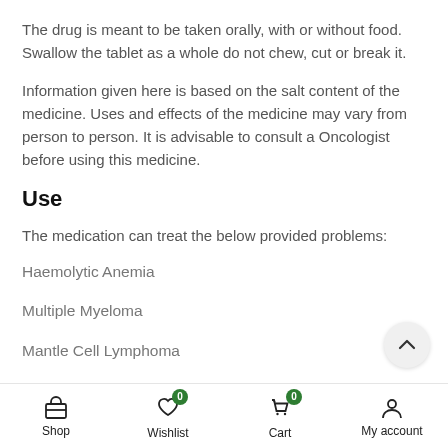The drug is meant to be taken orally, with or without food. Swallow the tablet as a whole do not chew, cut or break it.
Information given here is based on the salt content of the medicine. Uses and effects of the medicine may vary from person to person. It is advisable to consult a Oncologist before using this medicine.
Use
The medication can treat the below provided problems:
Haemolytic Anemia
Multiple Myeloma
Mantle Cell Lymphoma
Dosage
Shop  Wishlist 0  Cart 0  My account